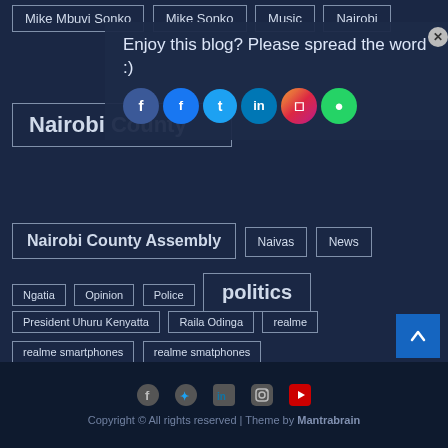Mike Mbuvi Sonko
Mike Sonko
Music
Nairobi
Nairobi County
Enjoy this blog? Please spread the word :)
Nairobi County Assembly
Naivas
News
Ngatia
Opinion
Police
politics
President Uhuru Kenyatta
Raila Odinga
realme
realme smartphones
realme smatphones
Richard Ngatia
sports
technology
Uhuru Kenyatta
William Ruto
Copyright © All rights reserved | Theme by Mantrabrain